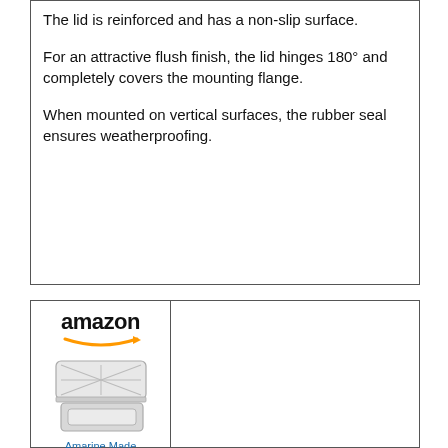The lid is reinforced and has a non-slip surface.
For an attractive flush finish, the lid hinges 180° and completely covers the mounting flange.
When mounted on vertical surfaces, the rubber seal ensures weatherproofing.
[Figure (screenshot): Amazon product listing screenshot showing Amazon logo with orange arrow, and a product image of a white rectangular access hatch with reinforced lid open, labeled 'Amarine Made']